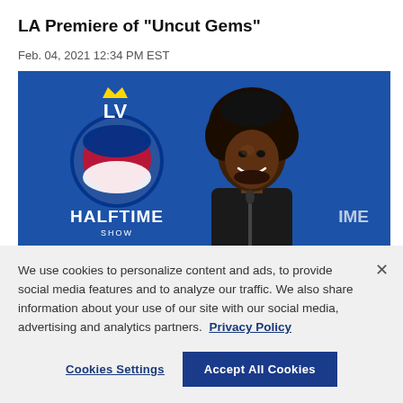LA Premiere of "Uncut Gems"
Feb. 04, 2021 12:34 PM EST
[Figure (photo): A man with an afro hairstyle smiling in front of a blue backdrop featuring the Pepsi Super Bowl LV Halftime Show logo, wearing a black suit.]
We use cookies to personalize content and ads, to provide social media features and to analyze our traffic. We also share information about your use of our site with our social media, advertising and analytics partners.  Privacy Policy
Cookies Settings
Accept All Cookies